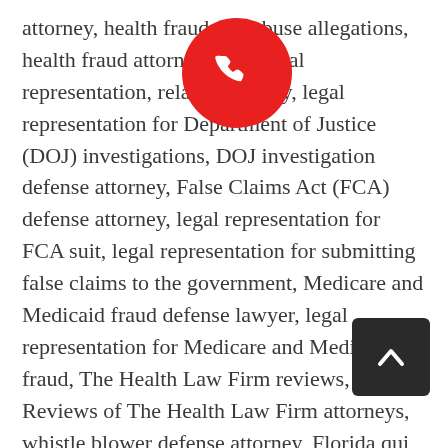attorney, health fraud and abuse allegations, health fraud attorney, FCA legal representation, relator attorney, legal representation for Department of Justice (DOJ) investigations, DOJ investigation defense attorney, False Claims Act (FCA) defense attorney, legal representation for FCA suit, legal representation for submitting false claims to the government, Medicare and Medicaid fraud defense lawyer, legal representation for Medicare and Medicaid fraud, The Health Law Firm reviews, Reviews of The Health Law Firm attorneys, whistle blower defense attorney, Florida qui tam whistle blower attorney, Colorado qui tam whistle blower lawyer, Louisiana qui tam whistle blower attorney, Kentucky qui tam whistle blower lawyer, Virginia qui tam whistle blower attorney, District of Columbia (D.C.) qui tam whistle blower lawyer, Florida False Claims Act (FCA) and civil monetary penalties attorney, Colorado False Claims Act and civil monetary penalties lawyer, Louisiana False Claims Act (FCA) and civil monetary penalties attorney, Kentucky
[Figure (other): Red circular phone/call button floating over the text]
[Figure (other): Dark rounded square scroll-to-top button with upward chevron arrow]